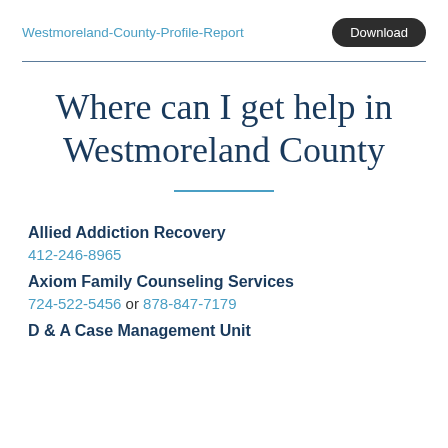Westmoreland-County-Profile-Report  Download
Where can I get help in Westmoreland County
Allied Addiction Recovery
412-246-8965
Axiom Family Counseling Services
724-522-5456 or 878-847-7179
D & A Case Management Unit